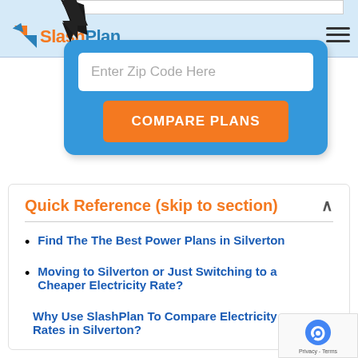[Figure (logo): SlashPlan logo with orange and blue icon and text]
[Figure (other): Search input field white strip at top]
[Figure (other): Blue widget box with zip code entry field and orange Compare Plans button, black arrow pointing to button]
Quick Reference (skip to section)
Find The The Best Power Plans in Silverton
Moving to Silverton or Just Switching to a Cheaper Electricity Rate?
Why Use SlashPlan To Compare Electricity Rates in Silverton?